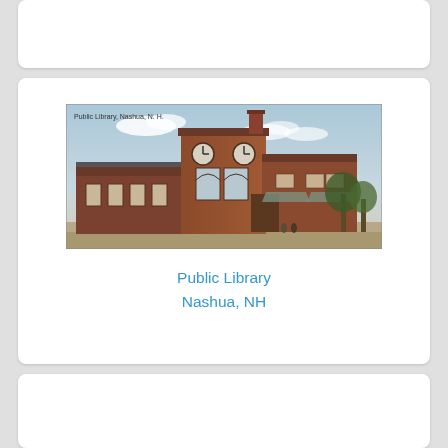[Figure (photo): Vintage postcard-style photo of the Public Library in Nashua, NH. A brick building with a tall square clock tower, arched windows, and a chimney. Sky with clouds in background. Text on photo reads: 'Public Library, Nashua, N. H.']
Public Library
Nashua, NH